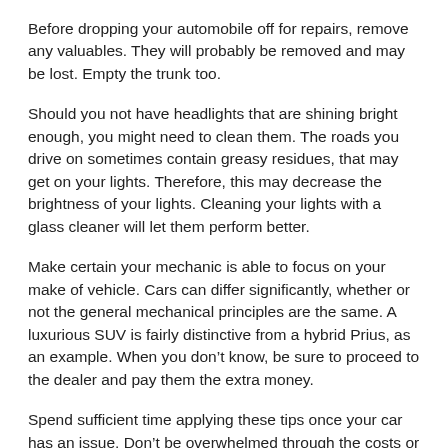Before dropping your automobile off for repairs, remove any valuables. They will probably be removed and may be lost. Empty the trunk too.
Should you not have headlights that are shining bright enough, you might need to clean them. The roads you drive on sometimes contain greasy residues, that may get on your lights. Therefore, this may decrease the brightness of your lights. Cleaning your lights with a glass cleaner will let them perform better.
Make certain your mechanic is able to focus on your make of vehicle. Cars can differ significantly, whether or not the general mechanical principles are the same. A luxurious SUV is fairly distinctive from a hybrid Prius, as an example. When you don’t know, be sure to proceed to the dealer and pay them the extra money.
Spend sufficient time applying these tips once your car has an issue. Don’t be overwhelmed through the costs or complexities of car repairs. Be in control of your car repairs, determine what you options are and do your best to generate a great deal…